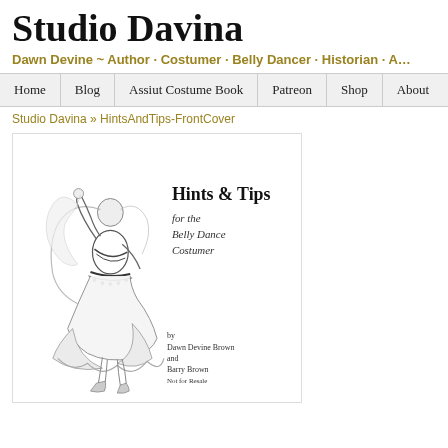Studio Davina
Dawn Devine ~ Author · Costumer · Belly Dancer · Historian · A...
Home  Blog  Assiut Costume Book  Patreon  Shop  About
Studio Davina » HintsAndTips-FrontCover
[Figure (illustration): Book cover for 'Hints & Tips for the Belly Dance Costumer' by Dawn Devine Brown and Barry Brown. Pencil sketch of a belly dancer in a flowing costume with veil. Text on cover reads: Hints & Tips for the Belly Dance Costumer, by Dawn Devine Brown and Barry Brown, Not for Resale.]